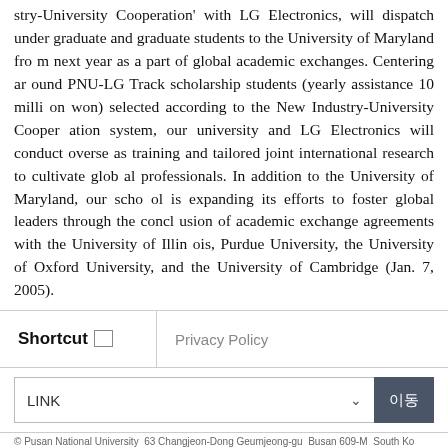stry-University Cooperation' with LG Electronics, will dispatch undergraduate and graduate students to the University of Maryland from next year as a part of global academic exchanges. Centering around PNU-LG Track scholarship students (yearly assistance 10 million won) selected according to the New Industry-University Cooperation system, our university and LG Electronics will conduct overseas training and tailored joint international research to cultivate global professionals. In addition to the University of Maryland, our school is expanding its efforts to foster global leaders through the conclusion of academic exchange agreements with the University of Illinois, Purdue University, the University of Oxford University, and the University of Cambridge (Jan. 7, 2005).
Shortcut | Privacy Policy
LINK 이동
© Pusan National University 63 Jangjeon-Dong Geumjeong-gu Busan 609-735 South Korea